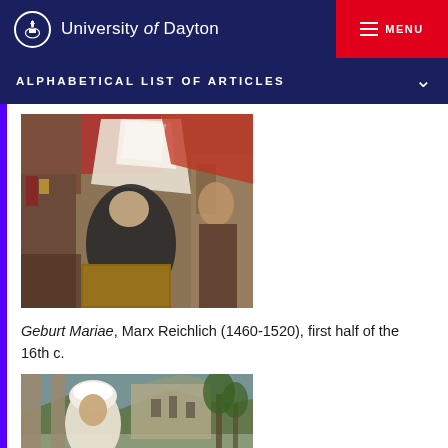University of Dayton
ALPHABETICAL LIST OF ARTICLES
[Figure (photo): Detail of a Renaissance painting showing figures around a bed, depicting the birth of Mary (Geburt Mariae), by Marx Reichlich.]
Geburt Mariae, Marx Reichlich (1460-1520), first half of the 16th c.
[Figure (photo): Second painting partially visible, showing a figure in white headwear with a landscape and architecture in background.]